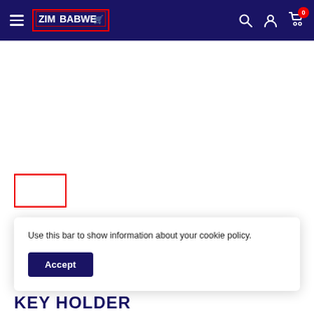Zimbabwe Shop navigation bar with logo, search, account, and cart icons
Use this bar to show information about your cookie policy.
Accept
KEY HOLDER